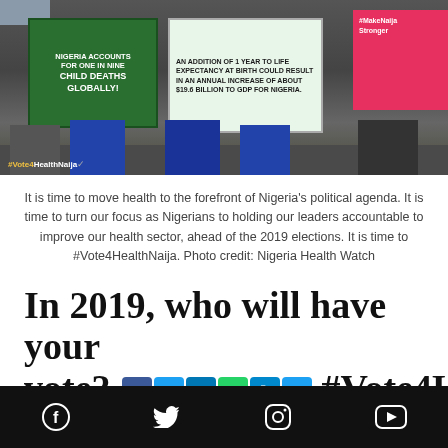[Figure (photo): Three people holding large signs at a protest. Left sign (green): 'NIGERIA ACCOUNTS FOR ONE IN NINE CHILD DEATHS GLOBALLY!' Middle sign (white/light): 'AN ADDITION OF 1 YEAR TO LIFE EXPECTANCY AT BIRTH COULD RESULT IN AN ANNUAL INCREASE OF ABOUT $19.6 BILLION TO GDP FOR NIGERIA.' Right sign (pink/red): '#MakeNaijaStronger'. Watermark at bottom left: #Vote4HealthNaija]
It is time to move health to the forefront of Nigeria's political agenda. It is time to turn our focus as Nigerians to holding our leaders accountable to improve our health sector, ahead of the 2019 elections. It is time to #Vote4HealthNaija. Photo credit: Nigeria Health Watch
In 2019, who will have your vote? #Vote4HealthNaija